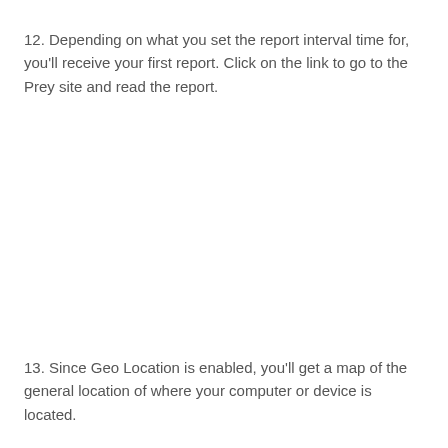12. Depending on what you set the report interval time for, you'll receive your first report. Click on the link to go to the Prey site and read the report.
13. Since Geo Location is enabled, you'll get a map of the general location of where your computer or device is located.